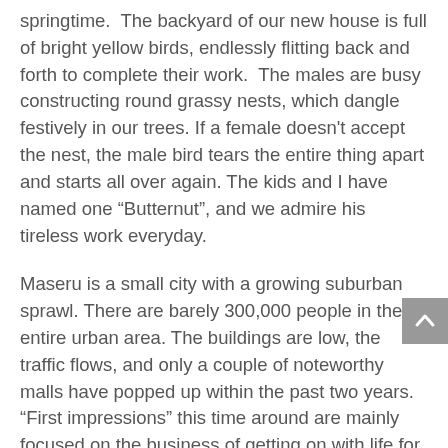springtime.  The backyard of our new house is full of bright yellow birds, endlessly flitting back and forth to complete their work.  The males are busy constructing round grassy nests, which dangle festively in our trees. If a female doesn't accept the nest, the male bird tears the entire thing apart and starts all over again. The kids and I have named one “Butternut”, and we admire his tireless work everyday.
Maseru is a small city with a growing suburban sprawl. There are barely 300,000 people in the entire urban area. The buildings are low, the traffic flows, and only a couple of noteworthy malls have popped up within the past two years. “First impressions” this time around are mainly focused on the business of getting on with life for our family–new school, new friends, new job, new supermarkets, getting the internet set up, figuring out a car, and obtaining household help. Luckily, it’s been quite easy to get everything that we need. As far